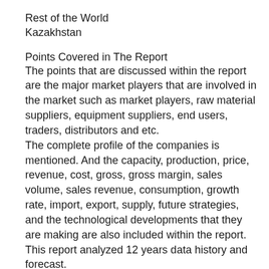Rest of the World
Kazakhstan
Points Covered in The Report
The points that are discussed within the report are the major market players that are involved in the market such as market players, raw material suppliers, equipment suppliers, end users, traders, distributors and etc.
The complete profile of the companies is mentioned. And the capacity, production, price, revenue, cost, gross, gross margin, sales volume, sales revenue, consumption, growth rate, import, export, supply, future strategies, and the technological developments that they are making are also included within the report. This report analyzed 12 years data history and forecast.
The growth factors of the market is discussed in detail wherein the different end users of the market are explained in detail.